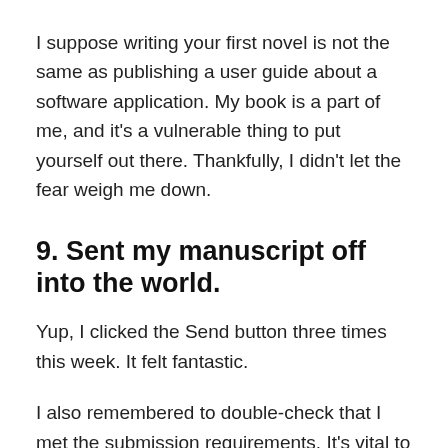I suppose writing your first novel is not the same as publishing a user guide about a software application. My book is a part of me, and it’s a vulnerable thing to put yourself out there. Thankfully, I didn’t let the fear weigh me down.
9. Sent my manuscript off into the world.
Yup, I clicked the Send button three times this week. It felt fantastic.
I also remembered to double-check that I met the submission requirements. It’s vital to follow them to the letter. The last thing I want to do is tick off